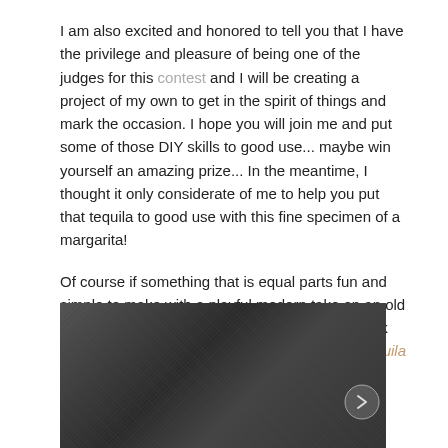I am also excited and honored to tell you that I have the privilege and pleasure of being one of the judges for this contest and I will be creating a project of my own to get in the spirit of things and mark the occasion. I hope you will join me and put some of those DIY skills to good use... maybe win yourself an amazing prize... In the meantime, I thought it only considerate of me to help you put that tequila to good use with this fine specimen of a margarita!
Of course if something that is equal parts fun and simple to make with a playful modern take on an old classic is a bit more your speed, be sure to check out my other tasty Patron recipe the Tropical Tequila Sunrise Poptail
[Figure (photo): Dark textured background photo, partially visible, dark grey/charcoal grainy surface]